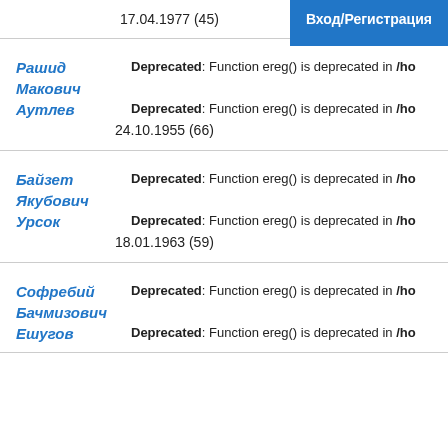17.04.1977 (45)	Вход/Регистрация
Рашид
Макович
Deprecated: Function ereg() is deprecated in /ho
Аутлев
Deprecated: Function ereg() is deprecated in /ho
24.10.1955 (66)
Байзет
Якубович
Deprecated: Function ereg() is deprecated in /ho
Урсок
Deprecated: Function ereg() is deprecated in /ho
18.01.1963 (59)
Софребий
Бачмизович
Deprecated: Function ereg() is deprecated in /ho
Ешугов
Deprecated: Function ereg() is deprecated in /ho